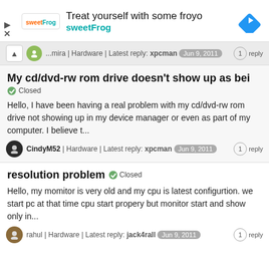[Figure (screenshot): Advertisement banner for sweetFrog frozen yogurt with logo, headline text, and navigation arrow icon]
...mira | Hardware | Latest reply: xpcman   Jun 9, 2011   1 reply
My cd/dvd-rw rom drive doesn't show up as bei
Closed
Hello, I have been having a real problem with my cd/dvd-rw rom drive not showing up in my device manager or even as part of my computer. I believe t...
CindyM52 | Hardware | Latest reply: xpcman   Jun 9, 2011   1 reply
resolution problem  Closed
Hello, my momitor is very old and my cpu is latest configurtion. we start pc at that time cpu start propery but monitor start and show only in...
rahul | Hardware | Latest reply: jack4rall   Jun 9, 2011   1 reply